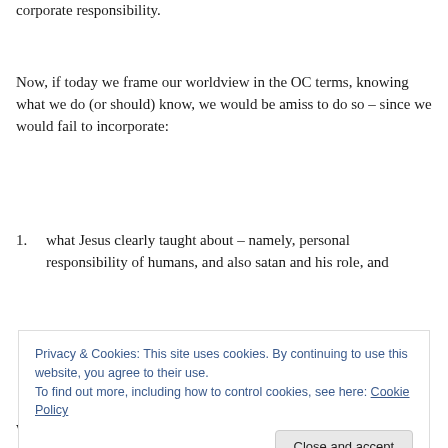corporate responsibility.
Now, if today we frame our worldview in the OC terms, knowing what we do (or should) know, we would be amiss to do so – since we would fail to incorporate:
what Jesus clearly taught about – namely, personal responsibility of humans, and also satan and his role, and
Privacy & Cookies: This site uses cookies. By continuing to use this website, you agree to their use.
To find out more, including how to control cookies, see here: Cookie Policy
When Paul was quoting OT passages, I believe he did that